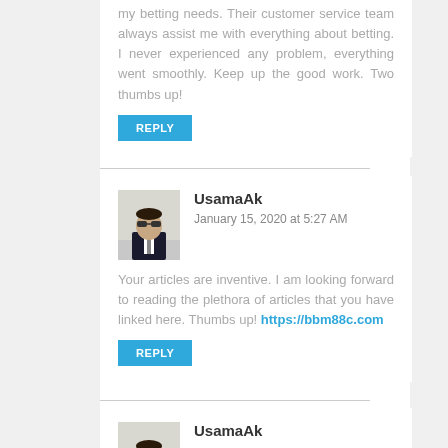my betting needs. Their customer service team always assist me with everything about betting. I never experienced any problem, everything went smoothly. Keep up the good work. Two thumbs up!
REPLY
UsamaAk
January 15, 2020 at 5:27 AM
Your articles are inventive. I am looking forward to reading the plethora of articles that you have linked here. Thumbs up! https://bbm88c.com
REPLY
UsamaAk